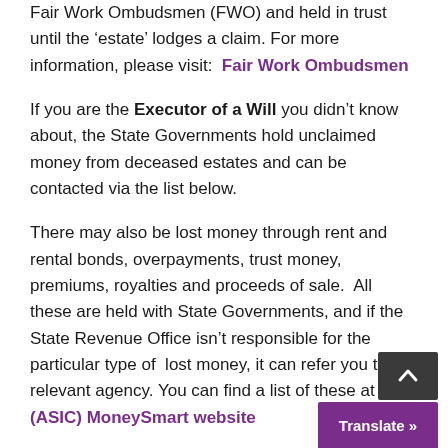Fair Work Ombudsmen (FWO) and held in trust until the 'estate' lodges a claim. For more information, please visit:  Fair Work Ombudsmen
If you are the Executor of a Will you didn't know about, the State Governments hold unclaimed money from deceased estates and can be contacted via the list below.
There may also be lost money through rent and rental bonds, overpayments, trust money, premiums, royalties and proceeds of sale. All these are held with State Governments, and if the State Revenue Office isn't responsible for the particular type of lost money, it can refer you to the relevant agency. You can find a list of these at the (ASIC) MoneySmart website